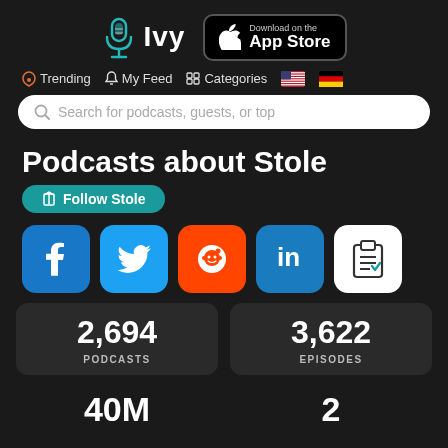[Figure (logo): Ivy podcast app logo with microphone icon and text 'Ivy', plus Apple App Store download button]
Trending  My Feed  Categories
Search for podcasts, guests, or top
Podcasts about Stole
Follow Stole
[Figure (infographic): Social share buttons: Facebook, Twitter, Reddit, LinkedIn, Clipboard]
2,694
PODCASTS
3,622
EPISODES
40M
2